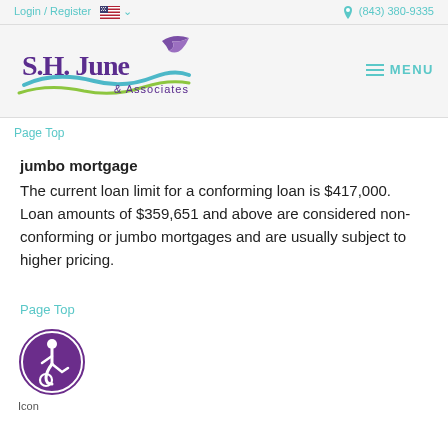Login / Register  🇺🇸 ∨   📞 (843) 380-9335
[Figure (logo): S.H. June & Associates logo with stylized bird and wave graphic in purple, teal, and green]
Page Top
jumbo mortgage
The current loan limit for a conforming loan is $417,000. Loan amounts of $359,651 and above are considered non-conforming or jumbo mortgages and are usually subject to higher pricing.
Page Top
[Figure (illustration): Purple circular accessibility icon showing a person in a wheelchair]